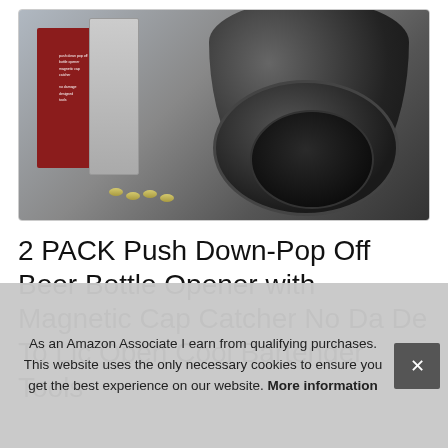[Figure (photo): Product photo showing 2 PACK Push Down-Pop Off Beer Bottle Openers with magnetic cap catcher, displayed with red product packaging boxes. The black cylindrical openers are shown with bottle caps nearby on a marble surface.]
2 PACK Push Down-Pop Off Beer Bottle Opener with Magnetic Cap Catcher No Da De To Lic Open Cool Bartender Tools
As an Amazon Associate I earn from qualifying purchases. This website uses the only necessary cookies to ensure you get the best experience on our website. More information